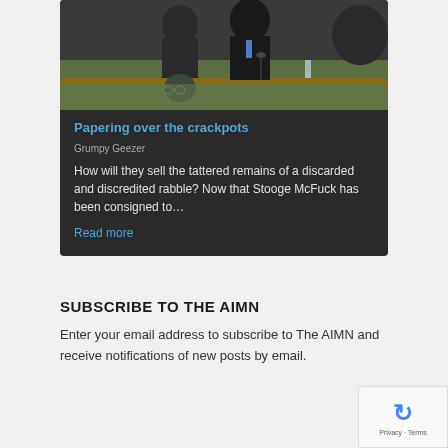[Figure (photo): Parliamentary scene showing politicians seated at green-covered benches in what appears to be Australian parliament. Men in suits are visible.]
Papering over the crackpots
Grumpy Geezer
How will they sell the tattered remains of a discarded and discredited rabble? Now that Stooge McFuck has been consigned to…
Read more
SUBSCRIBE TO THE AIMN
Enter your email address to subscribe to The AIMN and receive notifications of new posts by email.